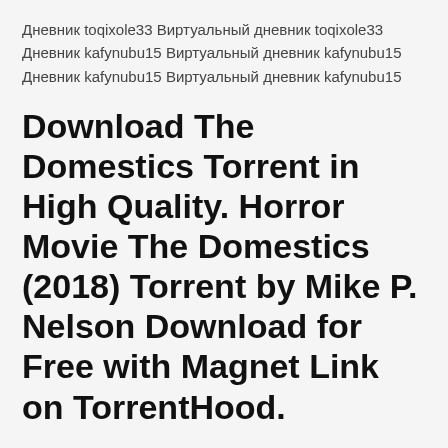Дневник toqixole33 Виртуальный дневник toqixole33 Дневник kafynubu15 Виртуальный дневник kafynubu15 Дневник kafynubu15 Виртуальный дневник kafynubu15
Download The Domestics Torrent in High Quality. Horror Movie The Domestics (2018) Torrent by Mike P. Nelson Download for Free with Magnet Link on TorrentHood.
Time and time again, Cobra has been on the threshhold of global domination, only to be thwarted by the Joes. Now the ruthless terrorist organization h Rate this post Most of us are in love with Batman films and we just can't get enough of them. Batman's adventures do not commence with Tim Burton and end with